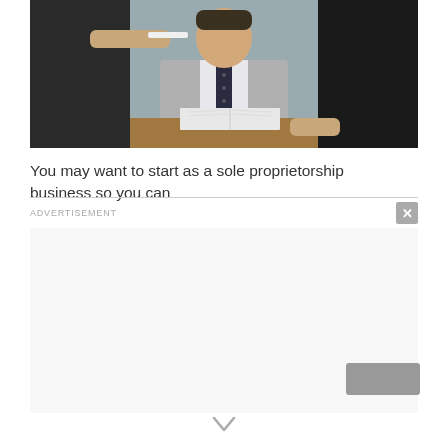[Figure (photo): Business meeting scene: man in gray suit and dark tie sitting at desk with open book, another person handing him a pen, computer monitors visible on sides]
You may want to start as a sole proprietorship business so you can
ADVERTISEMENT
[Figure (other): Advertisement placeholder area (blank/white)]